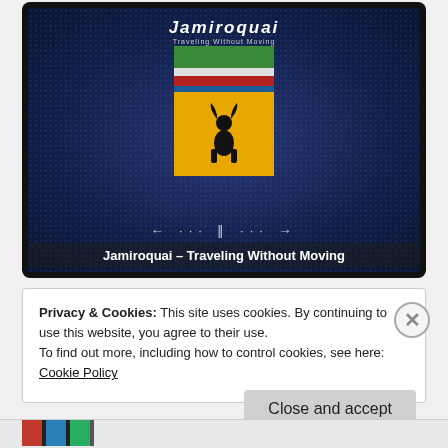[Figure (screenshot): Music player showing Jamiroquai - Traveling Without Moving album art. Dark blue dotted background with album cover featuring colored flag stripes and a yellow panel with a black buffalo/figure silhouette. Player controls visible. Track label at bottom: Jamiroquai – Traveling Without Moving.]
Jamiroquai – Traveling Without Moving
Privacy & Cookies: This site uses cookies. By continuing to use this website, you agree to their use.
To find out more, including how to control cookies, see here: Cookie Policy
Close and accept